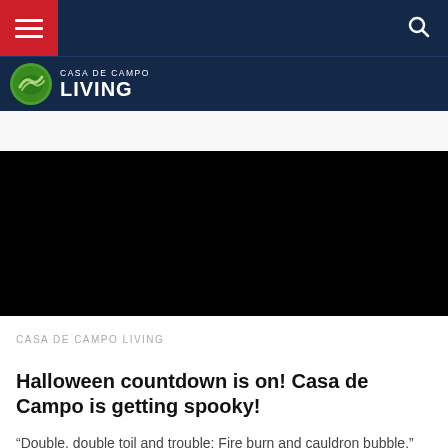[Figure (logo): Casa de Campo Living website header with hamburger menu (red background), dark navy navigation bar, search icon, and Casa de Campo Living logo with green circular icon]
[Figure (photo): Black/dark hero image area placeholder]
CASA DE CAMPO LIVING
Halloween countdown is on! Casa de Campo is getting spooky!
“Double, double toil and trouble; Fire burn and cauldron bubble.” We can’t help but recite Shakespeare’s lines from Macbeth as we count down to…